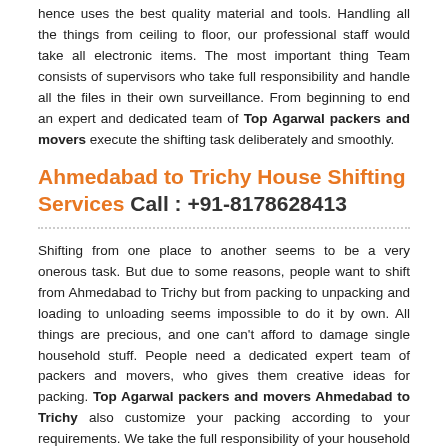hence uses the best quality material and tools. Handling all the things from ceiling to floor, our professional staff would take all electronic items. The most important thing Team consists of supervisors who take full responsibility and handle all the files in their own surveillance. From beginning to end an expert and dedicated team of Top Agarwal packers and movers execute the shifting task deliberately and smoothly.
Ahmedabad to Trichy House Shifting Services Call : +91-8178628413
Shifting from one place to another seems to be a very onerous task. But due to some reasons, people want to shift from Ahmedabad to Trichy but from packing to unpacking and loading to unloading seems impossible to do it by own. All things are precious, and one can't afford to damage single household stuff. People need a dedicated expert team of packers and movers, who gives them creative ideas for packing. Top Agarwal packers and movers Ahmedabad to Trichy also customize your packing according to your requirements. We take the full responsibility of your household supplies from packing to unpacking and loading to unloading and make your shifting hassle-free. Our professionals use the best quality material for packing and also ensure the safety of your goods. Our team also looks after each step of shifting and estimated time of delivery. We work round the